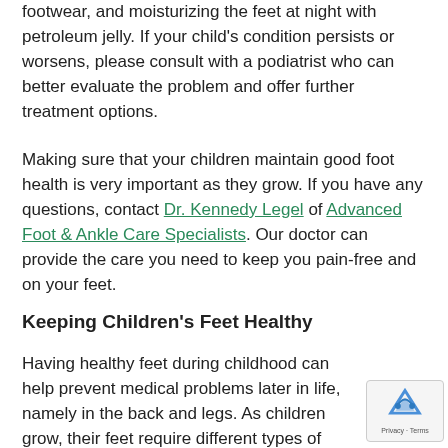footwear, and moisturizing the feet at night with petroleum jelly. If your child's condition persists or worsens, please consult with a podiatrist who can better evaluate the problem and offer further treatment options.
Making sure that your children maintain good foot health is very important as they grow. If you have any questions, contact Dr. Kennedy Legel of Advanced Foot & Ankle Care Specialists. Our doctor can provide the care you need to keep you pain-free and on your feet.
Keeping Children's Feet Healthy
Having healthy feet during childhood can help prevent medical problems later in life, namely in the back and legs. As children grow, their feet require different types of care. Here are some things to consider...